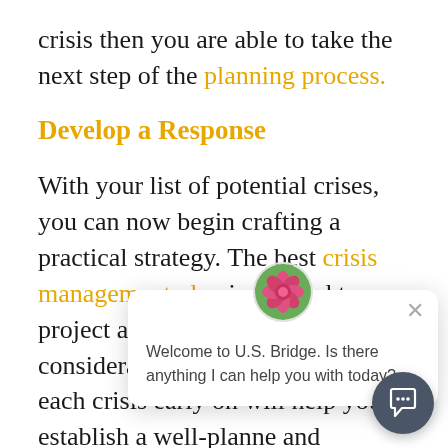crisis then you are able to take the next step of the planning process.
Develop a Response
With your list of potential crises, you can now begin crafting a practical strategy. The best crisis management plan is tailored to project and takes construction, and consideration. U who is needed for each crisis early on will help you establish a well-planned and effective response. Using this
[Figure (screenshot): Chat widget overlay showing a flower avatar and the message: Welcome to U.S. Bridge. Is there anything I can help you with today? with a close button (×). A dark circular chat button with speech bubble icon is in the bottom right corner.]